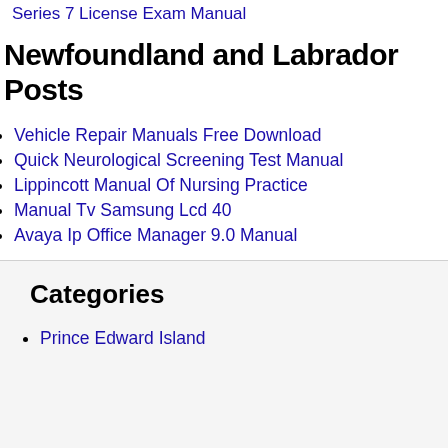Series 7 License Exam Manual
Newfoundland and Labrador Posts
Vehicle Repair Manuals Free Download
Quick Neurological Screening Test Manual
Lippincott Manual Of Nursing Practice
Manual Tv Samsung Lcd 40
Avaya Ip Office Manager 9.0 Manual
Categories
Prince Edward Island